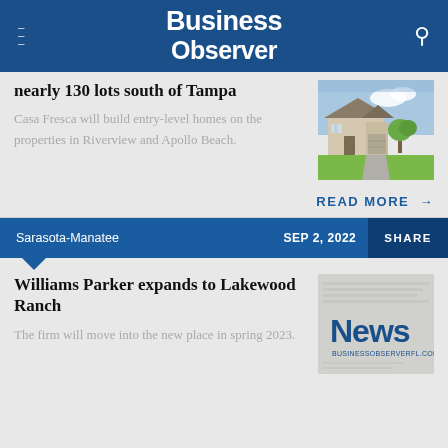Business Observer
nearly 130 lots south of Tampa
Casa Fresca will build entry-level homes on the properties in Riverview and Apollo Beach.
[Figure (photo): Rendering of a residential home development with lawn and landscaping]
READ MORE →
Sarasota-Manatee  SEP 2, 2022  SHARE
Williams Parker expands to Lakewood Ranch
The firm will move into the new place in spring 2023.
[Figure (screenshot): News logo image with text 'News businessobserverfl.com']